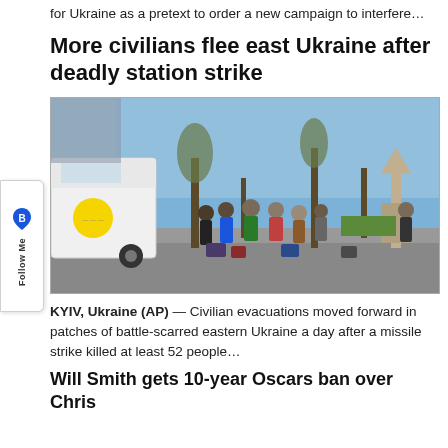for Ukraine as a pretext to order a new campaign to interfere...
More civilians flee east Ukraine after deadly station strike
[Figure (photo): People standing near a white van with luggage, being evacuated outdoors in a parking area with trees and a monument in the background, on a sunny day.]
KYIV, Ukraine (AP) — Civilian evacuations moved forward in patches of battle-scarred eastern Ukraine a day after a missile strike killed at least 52 people...
Will Smith gets 10-year Oscars ban over Chris